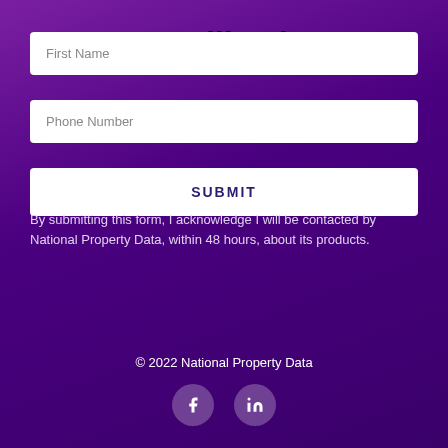Request Callback
First Name
Phone Number
SUBMIT
By submitting this form, I acknowledge I will be contacted by National Property Data, within 48 hours, about its products.
© 2022 National Property Data